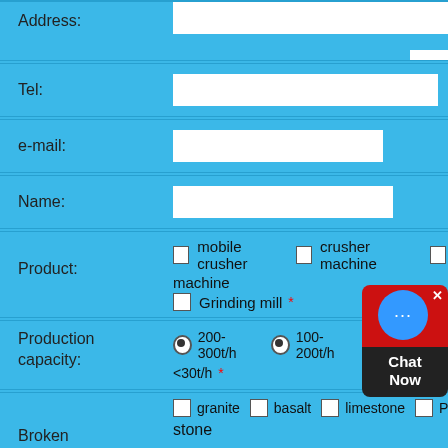| Address: | (input field) |
| Tel: | (input field) |
| e-mail: | (input field) |
| Name: | (input field) |
| Product: | ☐ mobile crusher  ☐ crusher machine  ☐ machine
☐ Grinding mill * |
| Production capacity: | ◉ 200-300t/h  ◉ 100-200t/h  ◉ 50-100t/h
<30t/h * |
| Broken | ☐ granite  ☐ basalt  ☐ limestone  ☐ Pe-
stone |